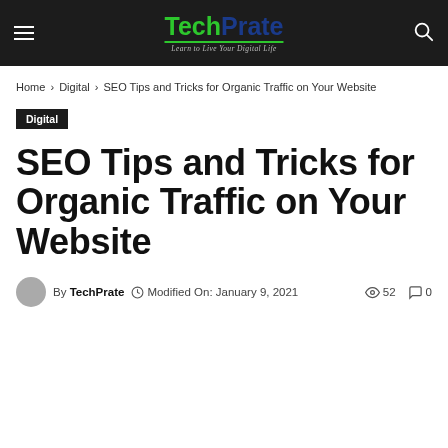TechPrate – Learn to Live Your Digital Life
Home › Digital › SEO Tips and Tricks for Organic Traffic on Your Website
Digital
SEO Tips and Tricks for Organic Traffic on Your Website
By TechPrate  Modified On: January 9, 2021  52  0